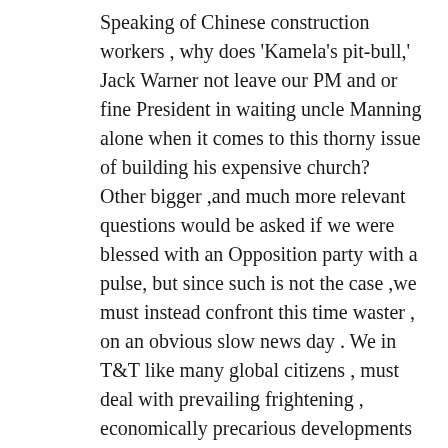Speaking of Chinese construction workers , why does 'Kamela's pit-bull,' Jack Warner not leave our PM and or fine President in waiting uncle Manning alone when it comes to this thorny issue of building his expensive church? Other bigger ,and much more relevant questions would be asked if we were blessed with an Opposition party with a pulse, but since such is not the case ,we must instead confront this time waster , on an obvious slow news day . We in T&T like many global citizens , must deal with prevailing frightening , economically precarious developments in the financial world. Added to that, unemployment is high, and our government repeatedly shows contempt towards all local experts , and tend to give away monies to any foreign company, advisors, and consultants it can dredged up be they from the Scotland Yard anti kidnapping security gurus, Israeli secret crime police , and now pro non regulated, Chinese engineers and their collection cheap slave laborers hell bent on grabbing